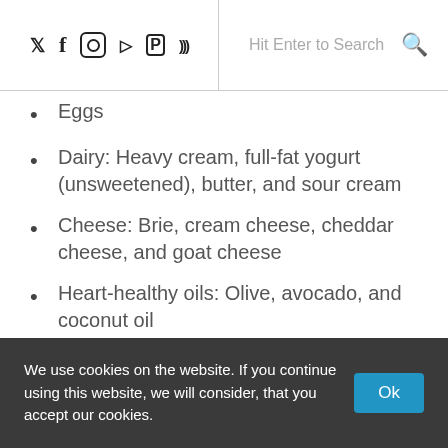Twitter Facebook Instagram Vimeo Pinterest RSS | Hit Enter to Search
Eggs
Dairy: Heavy cream, full-fat yogurt (unsweetened), butter, and sour cream
Cheese: Brie, cream cheese, cheddar cheese, and goat cheese
Heart-healthy oils: Olive, avocado, and coconut oil
Low-carb fruits: Berries, avocados, lemons, limes, and olives
Nut butters: Almond, peanut, and cashew butter
Seeds: Sunflower, chia, and pumpkin seeds
We use cookies on the website. If you continue using this website, we will consider, that you accept our cookies.